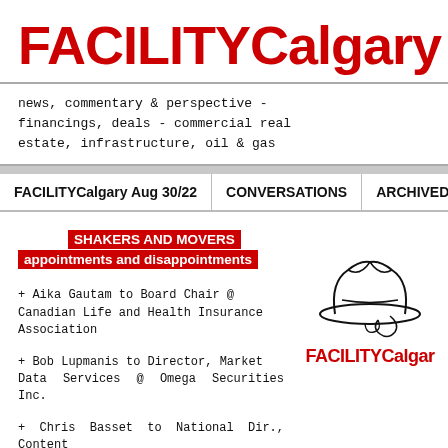FACILITYCalgary
news, commentary & perspective - financings, deals - commercial real estate, infrastructure, oil & gas
FACILITYCalgary Aug 30/22 | CONVERSATIONS | ARCHIVED ISSUES | S
SHAKERS AND MOVERS appointments and disappointments
+ Aika Gautam to Board Chair @ Canadian Life and Health Insurance Association
+ Bob Lupmanis to Director, Market Data Services @ Omega Securities Inc.
+ Chris Basset to National Dir., Content and Editorial Standards – Global News @ Corus Entertainment Inc.
[Figure (logo): Cowboy hat line drawing illustration with FACILITYCalgary text below in red]